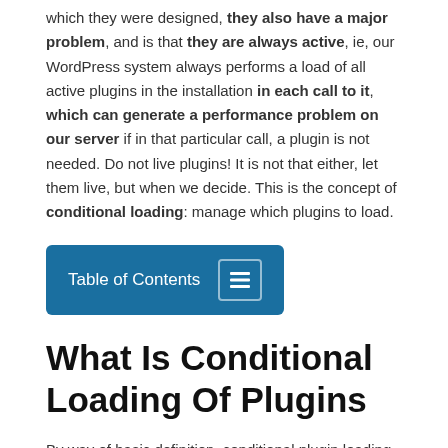which they were designed, they also have a major problem, and is that they are always active, ie, our WordPress system always performs a load of all active plugins in the installation in each call to it, which can generate a performance problem on our server if in that particular call, a plugin is not needed. Do not live plugins! It is not that either, let them live, but when we decide. This is the concept of conditional loading: manage which plugins to load.
[Figure (other): Table of Contents button with hamburger-lines icon on a blue background]
What Is Conditional Loading Of Plugins
By way of basic definition, conditional plugin loading is another WPO strategy by which we decide whether a plugin needs to be loaded or not, based on certain factors that we decide:
What URL is being called: